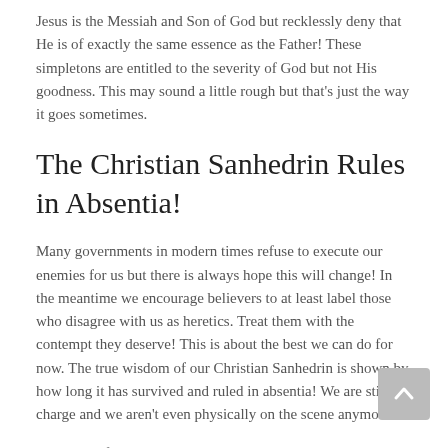Jesus is the Messiah and Son of God but recklessly deny that He is of exactly the same essence as the Father! These simpletons are entitled to the severity of God but not His goodness. This may sound a little rough but that's just the way it goes sometimes.
The Christian Sanhedrin Rules in Absentia!
Many governments in modern times refuse to execute our enemies for us but there is always hope this will change! In the meantime we encourage believers to at least label those who disagree with us as heretics. Treat them with the contempt they deserve! This is about the best we can do for now. The true wisdom of our Christian Sanhedrin is shown by how long it has survived and ruled in absentia! We are still in charge and we aren't even physically on the scene anymore!
Thank you for inviting me to speak tonight! It has been a great honor to be here with you. Is it almost time for dinner? I can't wait